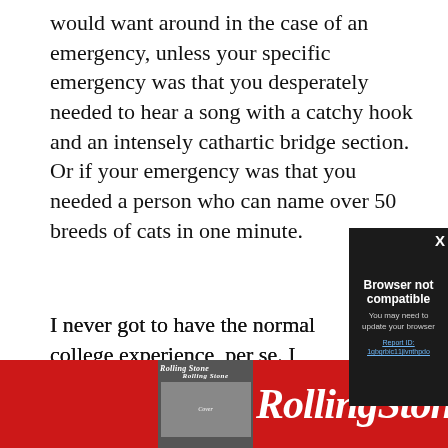would want around in the case of an emergency, unless your specific emergency was that you desperately needed to hear a song with a catchy hook and an intensely cathartic bridge section. Or if your emergency was that you needed a person who can name over 50 breeds of cats in one minute.
I never got to have the normal college experience, per se. I went to publi[c...] finished my educa[tion on the] floors of airport te[rminals...] on a radio tour, wh[ere...] in reality it consist[ed of...] mom and I pretend[ed...] fights with each ot[her...]
[Figure (screenshot): Browser not compatible modal overlay on dark background with close X button. Title: 'Browser not compatible'. Subtitle: 'You may need to update your browser'. Link text: 'Report ID: 1gbgrbic11jlvnthpdo']
[Figure (logo): Rolling Stone advertisement banner in red with white italic Rolling Stone logo text and small magazine cover image on left side]